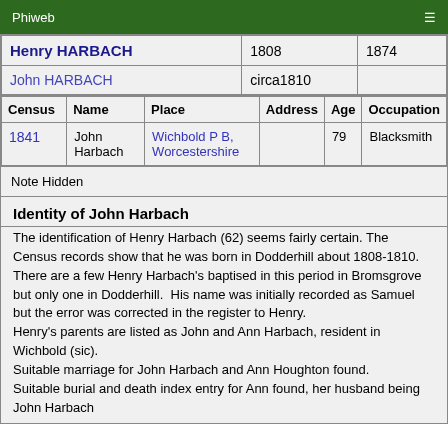Phiweb ☰
| Name | Born | Died |
| --- | --- | --- |
| Henry HARBACH | 1808 | 1874 |
| John HARBACH | circa1810 |  |
| Census | Name | Place | Address | Age | Occupation |
| --- | --- | --- | --- | --- | --- |
| 1841 | John Harbach | Wichbold P B, Worcestershire |  | 79 | Blacksmith |
Note Hidden
Identity of John Harbach
The identification of Henry Harbach (62) seems fairly certain. The Census records show that he was born in Dodderhill about 1808-1810.
There are a few Henry Harbach's baptised in this period in Bromsgrove but only one in Dodderhill.  His name was initially recorded as Samuel but the error was corrected in the register to Henry.
Henry's parents are listed as John and Ann Harbach, resident in Wichbold (sic).
Suitable marriage for John Harbach and Ann Houghton found.
Suitable burial and death index entry for Ann found, her husband being John Harbach